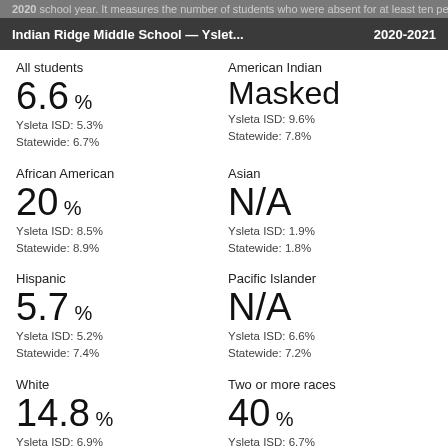2020 school year. It measures the number of students who were absent for at least ten percent of the school year.
Indian Ridge Middle School — Yslet...  2020-2021
All students
6.6%
Ysleta ISD: 5.3%
Statewide: 6.7%
American Indian
Masked
Ysleta ISD: 9.6%
Statewide: 7.8%
African American
20%
Ysleta ISD: 8.5%
Statewide: 8.9%
Asian
N/A
Ysleta ISD: 1.9%
Statewide: 1.8%
Hispanic
5.7%
Ysleta ISD: 5.2%
Statewide: 7.4%
Pacific Islander
N/A
Ysleta ISD: 6.6%
Statewide: 7.2%
White
14.8%
Ysleta ISD: 6.9%
Statewide: 5.2%
Two or more races
40%
Ysleta ISD: 6.7%
Statewide: 6.7%